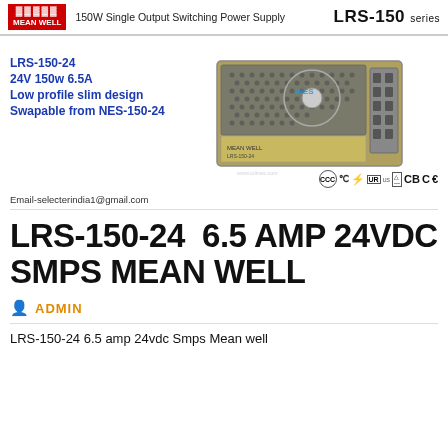150W Single Output Switching Power Supply  LRS-150 series
[Figure (photo): Mean Well LRS-150 150W single output switching power supply unit, metallic enclosure with honeycomb ventilation top and terminal block connections]
LRS-150-24
24V 150w 6.5A
Low profile slim design
Swapable from NES-150-24
Email-selecterindia1@gmail.com
LRS-150-24  6.5 AMP 24VDC SMPS MEAN WELL
ADMIN
LRS-150-24 6.5 amp 24vdc Smps Mean well